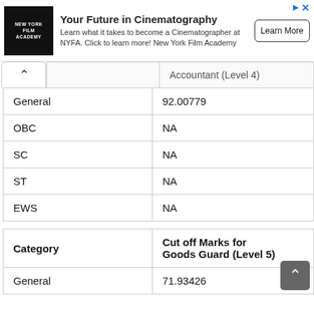[Figure (other): Advertisement banner for New York Film Academy Cinematography program with logo, text, and Learn More button]
|  | Accountant (Level 4) |
| --- | --- |
| General | 92.00779 |
| OBC | NA |
| SC | NA |
| ST | NA |
| EWS | NA |
| Category | Cut off Marks for Goods Guard (Level 5) |
| --- | --- |
| General | 71.93426 |